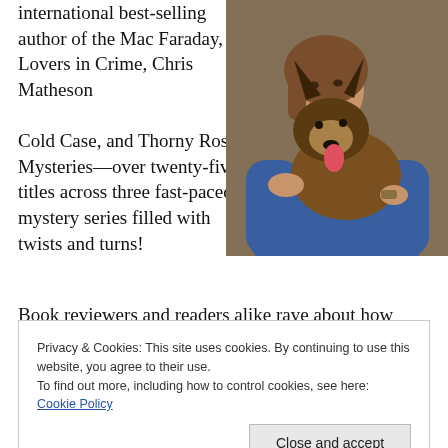international best-selling author of the Mac Faraday, Lovers in Crime, Chris Matheson Cold Case, and Thorny Rose Mysteries—over twenty-five titles across three fast-paced mystery series filled with twists and turns!
[Figure (photo): A smiling woman with brown hair wearing a blue sweater and necklace, hugging a German Shepherd dog. They appear to be indoors.]
Book reviewers and readers alike rave about how Lauren
Privacy & Cookies: This site uses cookies. By continuing to use this website, you agree to their use.
To find out more, including how to control cookies, see here: Cookie Policy